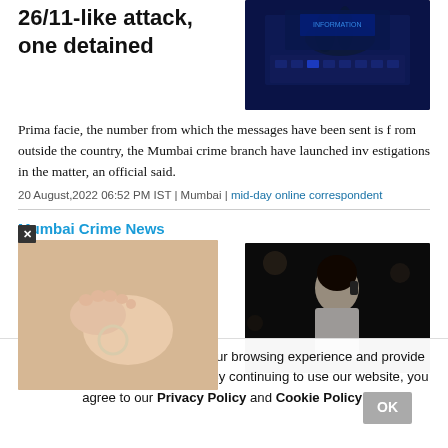26/11-like attack, one detained
[Figure (photo): Dark blue-toned photo of gloved hands typing on a keyboard, suggesting cybercrime]
Prima facie, the number from which the messages have been sent is from outside the country, the Mumbai crime branch have launched investigations in the matter, an official said.
20 August,2022 06:52 PM IST | Mumbai | mid-day online correspondent
Mumbai Crime News
Sheena Bora case: Bombay HC grants bail to Indrani's
[Figure (photo): Photo of a woman in white clothing talking on a phone, outdoors at night]
[Figure (photo): Close-up photo of a baby's feet on a soft surface with a small ring]
nilar technologies, to enhance your browsing experience and provide personalised recommendations. By continuing to use our website, you agree to our Privacy Policy and Cookie Policy.